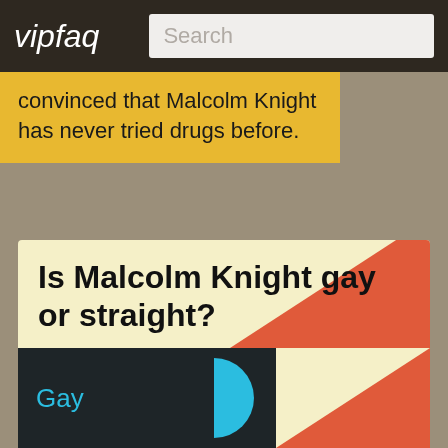vipfaq   Search
convinced that Malcolm Knight has never tried drugs before.
Is Malcolm Knight gay or straight?
Many people enjoy sharing rumors about the sexuality and sexual orientation of celebrities. We don't know for a fact whether Malcolm Knight is gay, bisexual or straight. However, feel free to tell us what you think! Vote by clicking below.
Gay